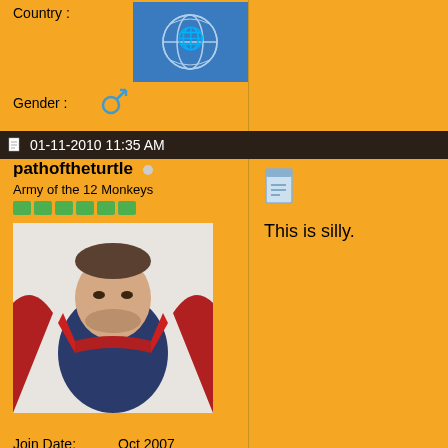Country :
[Figure (photo): UN flag icon - blue background with white UN emblem]
Gender :
[Figure (illustration): Male gender symbol icon in blue]
01-11-2010 11:35 AM
pathoftheturtle
Army of the 12 Monkeys
[Figure (photo): Avatar image of man in red superhero cape costume (Doctor Strange)]
Join Date:
Location:
Posts:
My Mood:
Country :
Gender :
[Figure (illustration): Stressed mood badge with emoji]
[Figure (photo): US flag banner with .us domain text]
[Figure (illustration): Male gender symbol icon in blue]
[Figure (illustration): Document/post icon in blue]
This is silly.